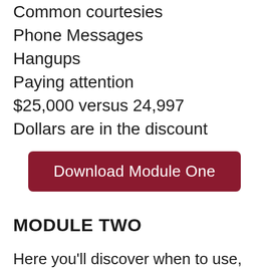Common courtesies
Phone Messages
Hangups
Paying attention
$25,000 versus 24,997
Dollars are in the discount
[Figure (other): Dark red rounded rectangle button labeled 'Download Module One']
MODULE TWO
Here you'll discover when to use, and when